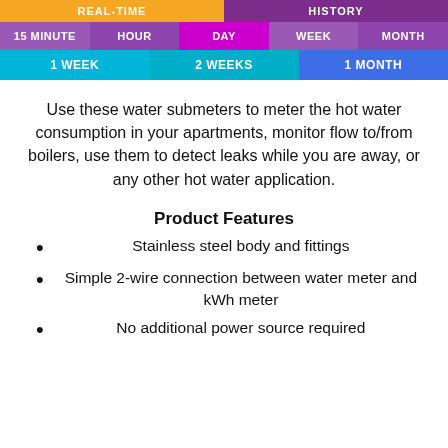[Figure (screenshot): Navigation bar with REAL-TIME and HISTORY tabs, time period buttons (15 MINUTE, HOUR, DAY, WEEK, MONTH) and range buttons (1 WEEK, 2 WEEKS, 1 MONTH)]
Use these water submeters to meter the hot water consumption in your apartments, monitor flow to/from boilers, use them to detect leaks while you are away, or any other hot water application.
Product Features
Stainless steel body and fittings
Simple 2-wire connection between water meter and kWh meter
No additional power source required